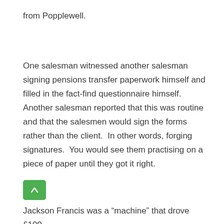from Popplewell.
One salesman witnessed another salesman signing pensions transfer paperwork himself and filled in the fact-find questionnaire himself.  Another salesman reported that this was routine and that the salesmen would sign the forms rather than the client.  In other words, forging signatures.  You would see them practising on a piece of paper until they got it right.
Jackson Francis was a “machine” that drove £100